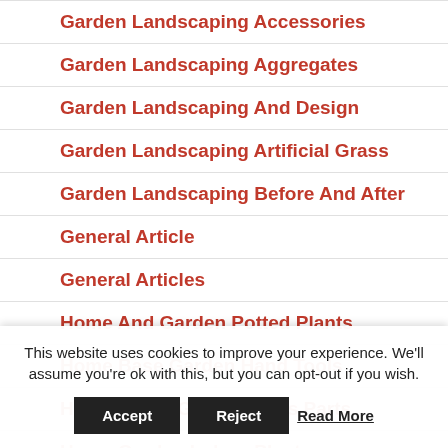Garden Landscaping Accessories
Garden Landscaping Aggregates
Garden Landscaping And Design
Garden Landscaping Artificial Grass
Garden Landscaping Before And After
General Article
General Articles
Home And Garden Potted Plants
Home Base Garden Hand Tools
Home Depot Garden Tools Parts
Home Garden Indoor Plants
This website uses cookies to improve your experience. We'll assume you're ok with this, but you can opt-out if you wish.